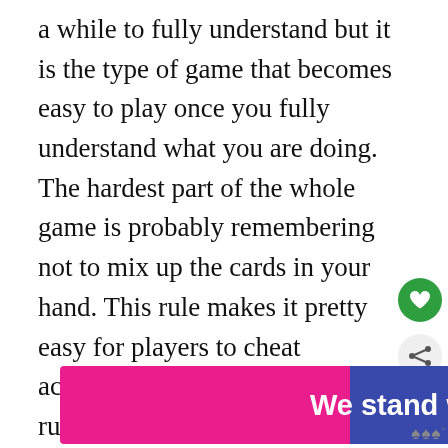a while to fully understand but it is the type of game that becomes easy to play once you fully understand what you are doing. The hardest part of the whole game is probably remembering not to mix up the cards in your hand. This rule makes it pretty easy for players to cheat accidentally or on purpose. The rule is necessary though since it forces players to have to trade with one another which is one of the best parts of the game.
[Figure (infographic): Advertisement banner: 'We stand with you.' on pink and blue gradient background with close button and logo]